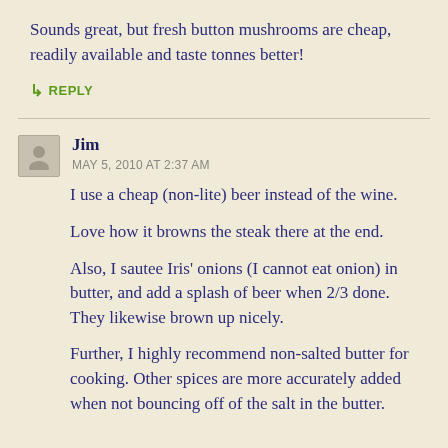Sounds great, but fresh button mushrooms are cheap, readily available and taste tonnes better!
↳ REPLY
Jim
MAY 5, 2010 AT 2:37 AM
I use a cheap (non-lite) beer instead of the wine.

Love how it browns the steak there at the end.

Also, I sautee Iris' onions (I cannot eat onion) in butter, and add a splash of beer when 2/3 done. They likewise brown up nicely.

Further, I highly recommend non-salted butter for cooking. Other spices are more accurately added when not bouncing off of the salt in the butter.